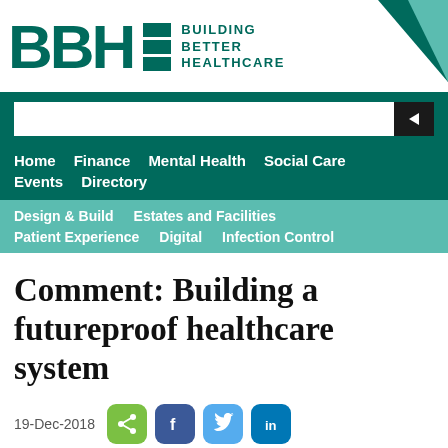[Figure (logo): BBH Building Better Healthcare logo with teal letters and triangular graphic element]
Home  Finance  Mental Health  Social Care  Events  Directory
Design & Build  Estates and Facilities  Patient Experience  Digital  Infection Control
Comment: Building a futureproof healthcare system
19-Dec-2018